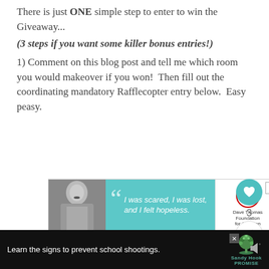There is just ONE simple step to enter to win the Giveaway...
(3 steps if you want some killer bonus entries!)
1) Comment on this blog post and tell me which room you would makeover if you won! Then fill out the coordinating mandatory Rafflecopter entry below. Easy peasy.
[Figure (photo): Advertisement banner: Dave Thomas Foundation for Adoption, with photo of a young woman and quote 'I was scared, I was lost, and I felt hopeless.']
[Figure (infographic): Social sidebar with heart button (3 likes) and share button]
[Figure (infographic): What's Next panel: Giveaway Guide - All...]
[Figure (photo): Bottom advertisement: Sandy Hook Promise - Learn the signs to prevent school shootings.]